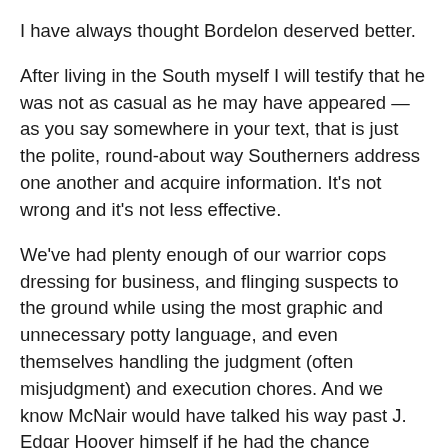I have always thought Bordelon deserved better.
After living in the South myself I will testify that he was not as casual as he may have appeared — as you say somewhere in your text, that is just the polite, round-about way Southerners address one another and acquire information. It's not wrong and it's not less effective.
We've had plenty enough of our warrior cops dressing for business, and flinging suspects to the ground while using the most graphic and unnecessary potty language, and even themselves handling the judgment (often misjudgment) and execution chores. And we know McNair would have talked his way past J. Edgar Hoover himself if he had the chance